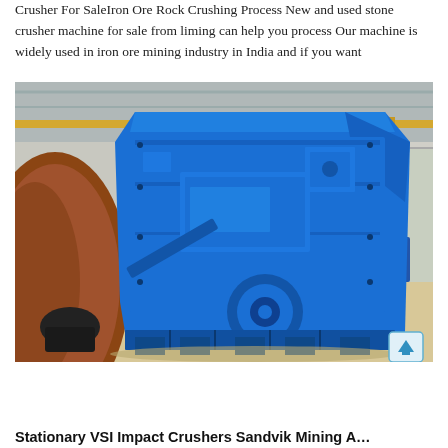Crusher For SaleIron Ore Rock Crushing Process New and used stone crusher machine for sale from liming can help you process Our machine is widely used in iron ore mining industry in India and if you want
[Figure (photo): A large blue impact crusher machine in an industrial warehouse setting. A brown/orange cylindrical drum is visible on the left. The blue crusher has a heavy-duty steel frame with bolted plates, a central rotor shaft, and structural feet. Industrial crane rails are visible in the background ceiling. A small blue arrow navigation icon appears in the bottom-right corner of the photo.]
Stationary VSI Impact Crushers Sandvik Mining A…